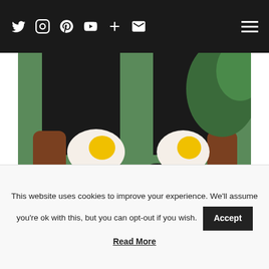Social media icons: Twitter, Instagram, Pinterest, YouTube, Plus, Email, Hamburger menu
[Figure (photo): Close-up photo of two brown leather platform sandals worn with black socks/stockings, featuring decorative fried egg appliqués on the toe strap. Shoes are on a pavement surface with green grass in background.]
Like this:
Loading...
This website uses cookies to improve your experience. We'll assume you're ok with this, but you can opt-out if you wish.
Read More